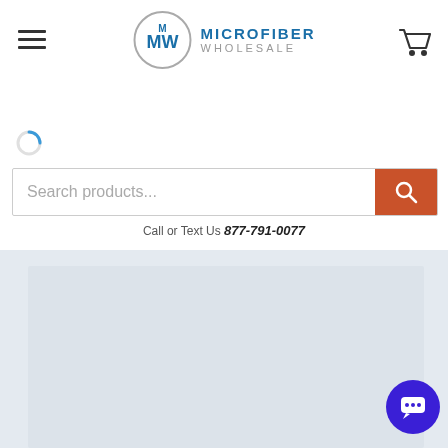[Figure (logo): Microfiber Wholesale logo with MW initials in a circle and text MICROFIBER WHOLESALE]
[Figure (screenshot): Search bar with placeholder 'Search products...' and orange search button, with a loading spinner above and a call/text us bar below showing 877-791-0077]
[Figure (photo): Light gray product image placeholder area on a light blue-gray background, with a blue chat button in the lower right corner]